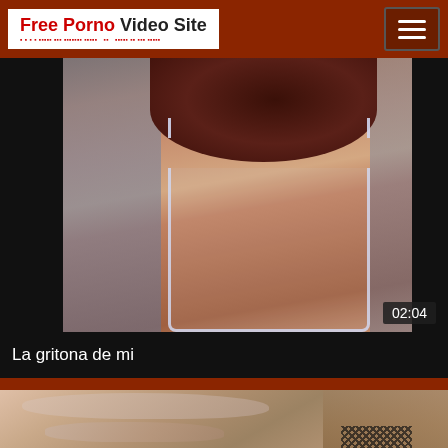Free Porno Video Site
[Figure (photo): Video thumbnail showing a woman's back with a white bra strap, dark curly hair, duration badge showing 02:04]
La gritona de mi
[Figure (photo): Second video thumbnail showing explicit adult content]